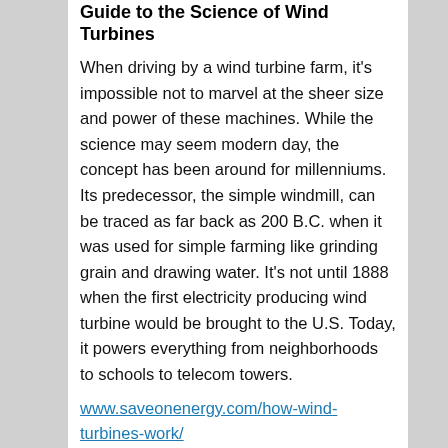Guide to the Science of Wind Turbines
When driving by a wind turbine farm, it's impossible not to marvel at the sheer size and power of these machines. While the science may seem modern day, the concept has been around for millenniums. Its predecessor, the simple windmill, can be traced as far back as 200 B.C. when it was used for simple farming like grinding grain and drawing water. It's not until 1888 when the first electricity producing wind turbine would be brought to the U.S. Today, it powers everything from neighborhoods to schools to telecom towers.
www.saveonenergy.com/how-wind-turbines-work/
SWITCH Educational Video
This film provides a fun, engaging